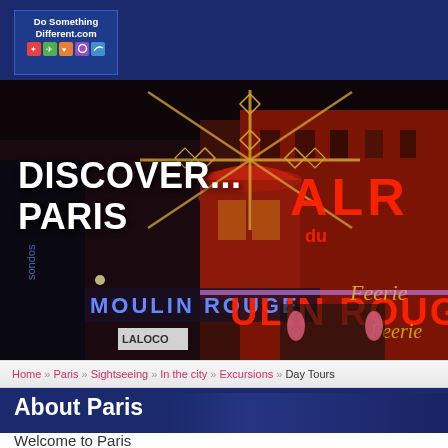[Figure (logo): DoSomethingDifferent.com logo with colored activity icons]
[Figure (photo): Night photo of the Moulin Rouge cabaret in Paris with large red neon signs reading MOULIN ROUGE and ALR DU ULIN ROUGE, windmill with decorative lights, and Feerie show posters]
DISCOVER... PARIS
Home » Paris » Sightseeing » In the city » Excursions » Day Tours
About Paris
Welcome to Paris